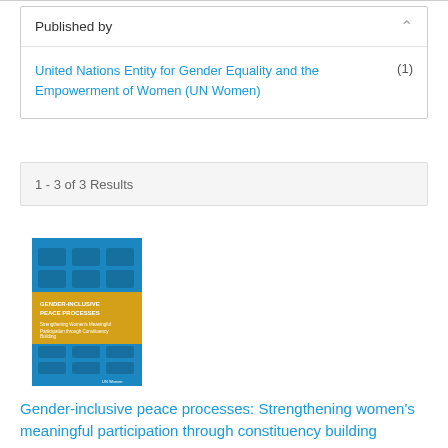Published by
United Nations Entity for Gender Equality and the Empowerment of Women (UN Women) (1)
1 - 3 of 3 Results
[Figure (illustration): Book cover of 'Gender-inclusive peace processes: Strengthening women's meaningful participation through constituency building' with blue and yellow design]
Gender-inclusive peace processes: Strengthening women's meaningful participation through constituency building
Date: Tuesday, 26 October 2021
This report on the proceedings of the global conference "Gender-inclusive peace processes: Strengthening women's meaningful participation through constituency building" explores current